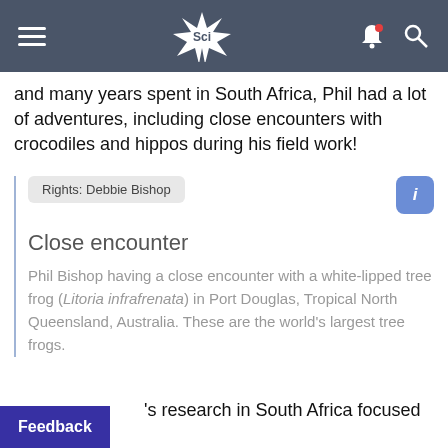Sci
and many years spent in South Africa, Phil had a lot of adventures, including close encounters with crocodiles and hippos during his field work!
Rights: Debbie Bishop
Close encounter
Phil Bishop having a close encounter with a white-lipped tree frog (Litoria infrafrenata) in Port Douglas, Tropical North Queensland, Australia. These are the world's largest tree frogs.
's research in South Africa focused on